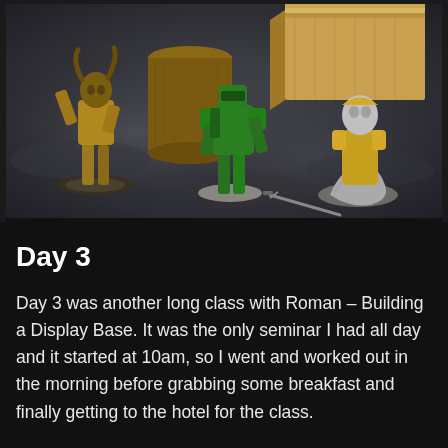[Figure (photo): Photograph of several painted miniature figurines arranged on a dark stone-textured surface. Three main figures are visible: a gold/brown armored warrior on the left, a green space marine in the center, and a gold-and-silver bust/figure on the right. Behind them are wooden props including a cylindrical stump and a rectangular wooden box. A small sword prop lies in front.]
Day 3
Day 3 was another long class with Roman – Building a Display Base.  It was the only seminar I had all day and it started at 10am, so I went and worked out in the morning before grabbing some breakfast and finally getting to the hotel for the class.